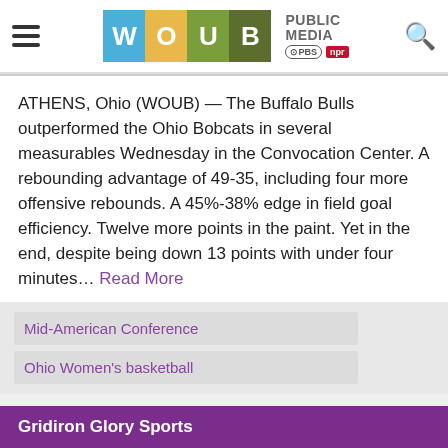WOUB Public Media – PBS NPR
ATHENS, Ohio (WOUB) — The Buffalo Bulls outperformed the Ohio Bobcats in several measurables Wednesday in the Convocation Center. A rebounding advantage of 49-35, including four more offensive rebounds. A 45%-38% edge in field goal efficiency. Twelve more points in the paint. Yet in the end, despite being down 13 points with under four minutes… Read More
Mid-American Conference
Ohio Women's basketball
Gridiron Glory Sports